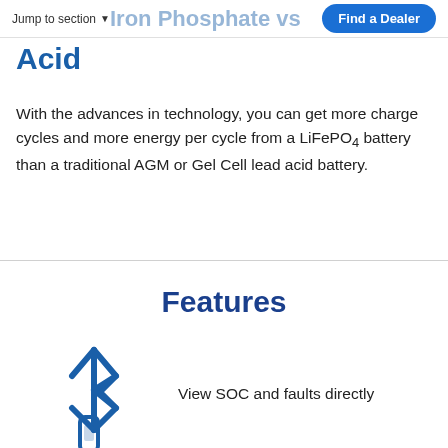Jump to section  |  Lithium Iron Phosphate vs  |  Find a Dealer
Acid
With the advances in technology, you can get more charge cycles and more energy per cycle from a LiFePO4 battery than a traditional AGM or Gel Cell lead acid battery.
Features
[Figure (illustration): Bluetooth icon — dark blue stylized Bluetooth symbol]
View SOC and faults directly
[Figure (illustration): Battery/indicator icon partially visible at bottom]